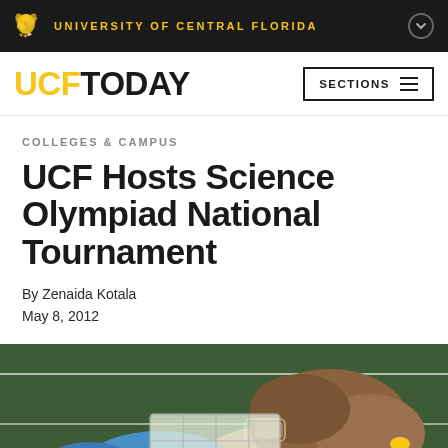UNIVERSITY OF CENTRAL FLORIDA
UCF TODAY
COLLEGES & CAMPUS
UCF Hosts Science Olympiad National Tournament
By Zenaida Kotala
May 8, 2012
[Figure (photo): A student with safety goggles and blue gloves examining a clear multi-compartment tray, with a green background (athletic field).]